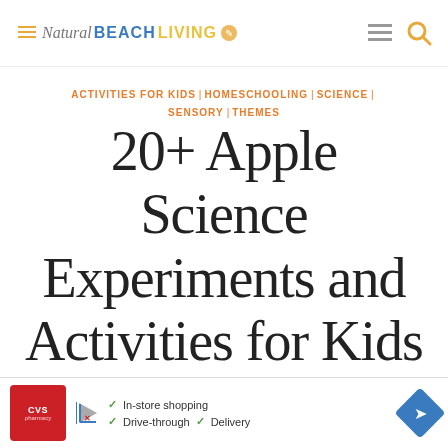Natural BEACH LIVING
ACTIVITIES FOR KIDS | HOMESCHOOLING | SCIENCE | SENSORY | THEMES
20+ Apple Science Experiments and Activities for Kids